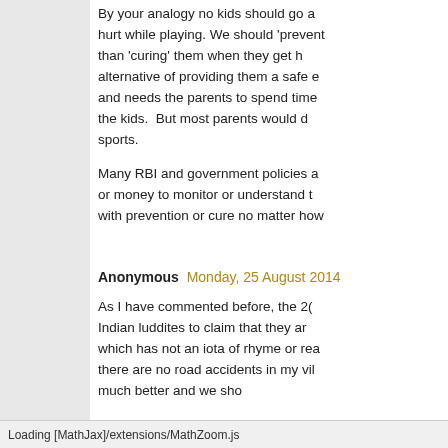By your analogy no kids should go a... hurt while playing. We should 'prevent'... than 'curing' them when they get h... alternative of providing them a safe e... and needs the parents to spend time... the kids. But most parents would d... sports.
Many RBI and government policies a... or money to monitor or understand t... with prevention or cure no matter how...
Anonymous Monday, 25 August 2014...
As I have commented before, the 20... Indian luddites to claim that they ar... which has not an iota of rhyme or rea... there are no road accidents in my vil... much better and we sho...
Loading [MathJax]/extensions/MathZoom.js